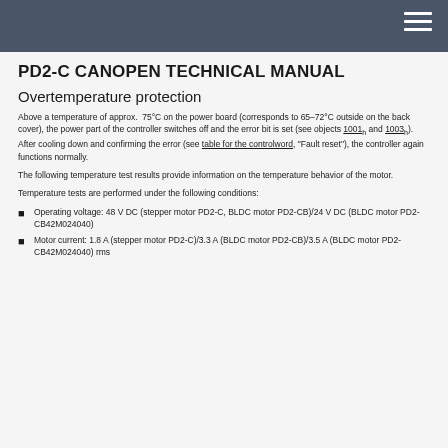PD2-C CANOPEN TECHNICAL MANUAL
Overtemperature protection
Above a temperature of approx.  75°C on the power board (corresponds to 65–72°C outside on the back cover), the power part of the controller switches off and the error bit is set (see objects 1001h and 1003h). After cooling down and confirming the error (see table for the controlword, "Fault reset"), the controller again functions normally.
The following temperature test results provide information on the temperature behavior of the motor.
Temperature tests are performed under the following conditions:
Operating voltage: 48 V DC (stepper motor PD2-C, BLDC motor PD2-CB)/24 V DC (BLDC motor PD2-CB42M024040)
Motor current: 1.8 A (stepper motor PD2-C)/3.3 A (BLDC motor PD2-CB)/3.5 A (BLDC motor PD2-CB42M024040) rms